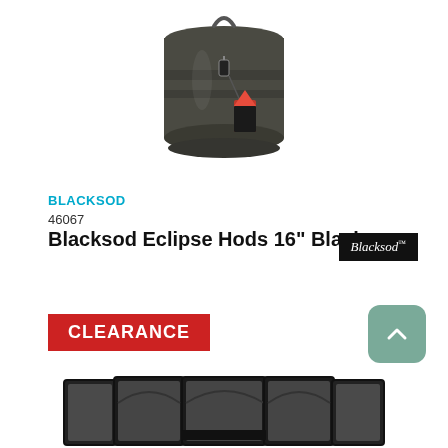[Figure (photo): A dark matte black cylindrical coal hod with lid, clasp closure, and a brand tag attached, photographed on white background]
BLACKSOD
46067
Blacksod Eclipse Hods 16" Black
[Figure (logo): Blacksod brand logo: white italic text on black background]
CLEARANCE
[Figure (photo): A black folding fireplace screen with mesh panels, partially open, photographed from above at an angle on white background]